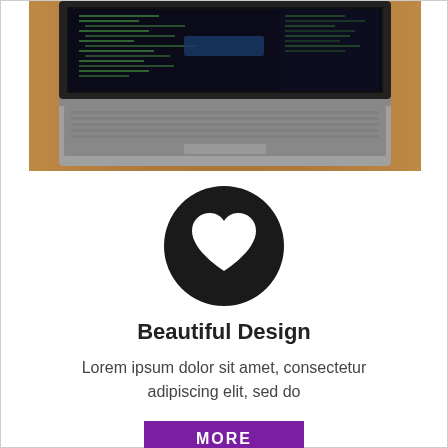[Figure (photo): MacBook Pro laptop open on a wooden desk showing code/terminal on screen, viewed from front angle]
[Figure (illustration): Black circle icon with a white heart shape in the center]
Beautiful Design
Lorem ipsum dolor sit amet, consectetur adipiscing elit, sed do
MORE